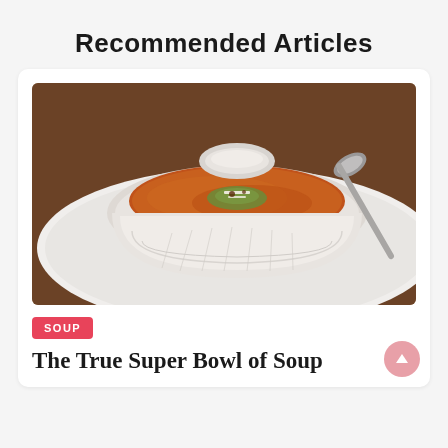Recommended Articles
[Figure (photo): A white bowl of orange-red soup garnished with green herbs, cheese and toppings, on a white plate with a silver spoon beside it, on a dark wooden table]
SOUP
The True Super Bowl of Soup